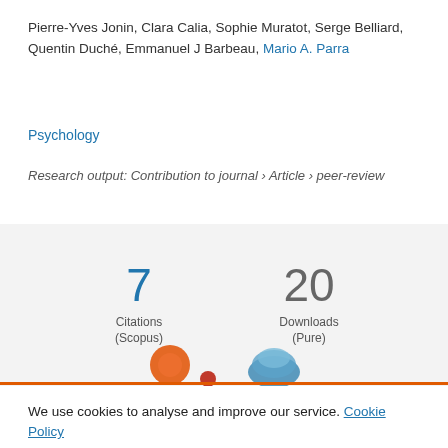Pierre-Yves Jonin, Clara Calia, Sophie Muratot, Serge Belliard, Quentin Duché, Emmanuel J Barbeau, Mario A. Parra
Psychology
Research output: Contribution to journal › Article › peer-review
7 Citations (Scopus)
20 Downloads (Pure)
We use cookies to analyse and improve our service. Cookie Policy